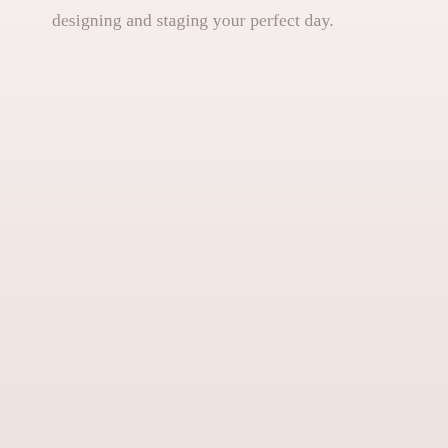designing and staging your perfect day.